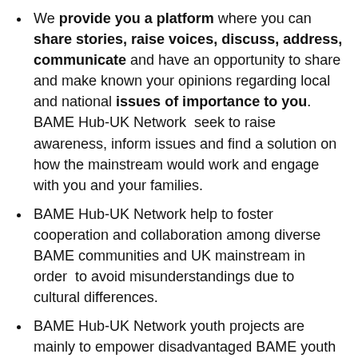We provide you a platform where you can share stories, raise voices, discuss, address, communicate and have an opportunity to share and make known your opinions regarding local and national issues of importance to you. BAME Hub-UK Network seek to raise awareness, inform issues and find a solution on how the mainstream would work and engage with you and your families.
BAME Hub-UK Network help to foster cooperation and collaboration among diverse BAME communities and UK mainstream in order to avoid misunderstandings due to cultural differences.
BAME Hub-UK Network youth projects are mainly to empower disadvantaged BAME youth in the context of community-based development work and participatory action research (PAR).
To reduce your isolation and s... [Free to chat with us] bringing your community together to enhance social